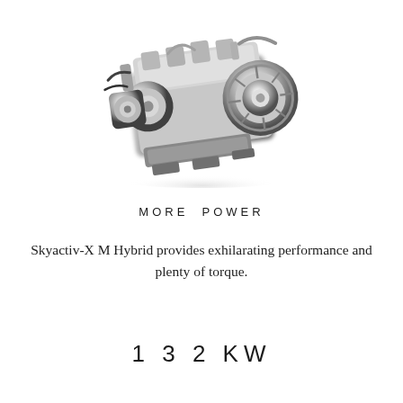[Figure (photo): A Mazda Skyactiv-X engine shown in a three-quarter view, metallic silver/chrome components visible, photographed against a white background with soft shadow underneath.]
MORE POWER
Skyactiv-X M Hybrid provides exhilarating performance and plenty of torque.
132KW